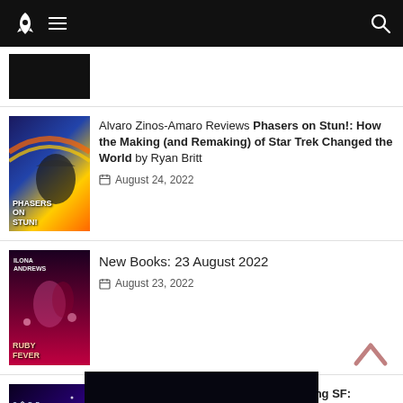Navigation bar with rocket logo, hamburger menu, and search icon
[Figure (illustration): Black placeholder image thumbnail (partial, top of page)]
[Figure (illustration): Book cover: Phasers on Stun! with Star Trek-themed art]
Alvaro Zinos-Amaro Reviews Phasers on Stun!: How the Making (and Remaking) of Star Trek Changed the World by Ryan Britt
August 24, 2022
[Figure (illustration): Book cover: Ruby Fever by Ilona Andrews]
New Books: 23 August 2022
August 23, 2022
[Figure (illustration): Book cover: Queering SF: Readings by Ritch Calvin]
Caren Gussoff Sumption Reviews Queering SF: Readings by Ritch Calvin
August 23, 2022
[Figure (illustration): Partial dark/space image at bottom of page]